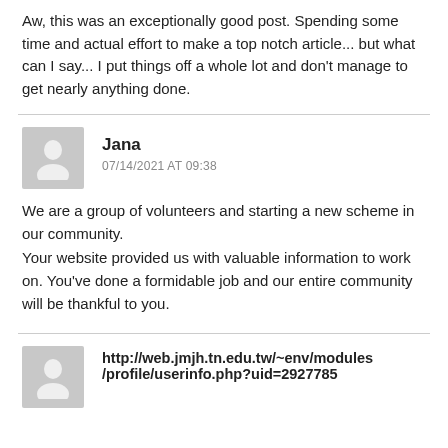Aw, this was an exceptionally good post. Spending some time and actual effort to make a top notch article... but what can I say... I put things off a whole lot and don't manage to get nearly anything done.
Jana
07/14/2021 AT 09:38
We are a group of volunteers and starting a new scheme in our community.
Your website provided us with valuable information to work on. You've done a formidable job and our entire community will be thankful to you.
http://web.jmjh.tn.edu.tw/~env/modules/profile/userinfo.php?uid=2927785